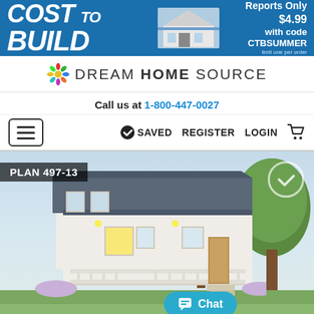[Figure (infographic): Cost to Build banner ad with house photo. Text: 'COST to BUILD', 'Reports Only $4.99 with code CTBSUMMER', 'limit one per order']
[Figure (logo): Dream Home Source logo with colorful flower/snowflake icon and text 'DREAM HOME SOURCE']
Call us at 1-800-447-0027
[Figure (infographic): Navigation bar with hamburger menu icon on left, and SAVED, REGISTER, LOGIN, cart icon on right]
[Figure (photo): Exterior rendering of house Plan 497-13: white farmhouse with dark metal roof, covered front porch with white railings and columns, surrounded by trees and flowers. Plan label in top-left corner, saved checkmark circle in top-right, Chat button at bottom.]